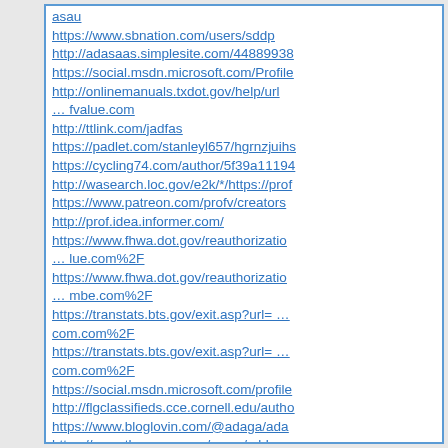asau
https://www.sbnation.com/users/sddp
http://adasaas.simplesite.com/44889938
https://social.msdn.microsoft.com/Profile
http://onlinemanuals.txdot.gov/help/url … fvalue.com
http://ttlink.com/jadfas
https://padlet.com/stanleyl657/hgrnzjuihs
https://cycling74.com/author/5f39a11194
http://wasearch.loc.gov/e2k/*/https://prof
https://www.patreon.com/profv/creators
http://prof.idea.informer.com/
https://www.fhwa.dot.gov/reauthorizatio … lue.com%2F
https://www.fhwa.dot.gov/reauthorizatio … mbe.com%2F
https://transtats.bts.gov/exit.asp?url= … com.com%2F
https://transtats.bts.gov/exit.asp?url= … com.com%2F
https://social.msdn.microsoft.com/profile
http://flgclassifieds.cce.cornell.edu/autho
https://www.bloglovin.com/@adaga/ada
https://www.theverge.com/users/sddp
https://comicvine.gamespot.com/profile/ … /about-me/
https://site-2476938-7182-7728.mystrikingly.com/
http://search.bt.com/result?p=optimbe
https://www.justgiving.com/crowdfunding